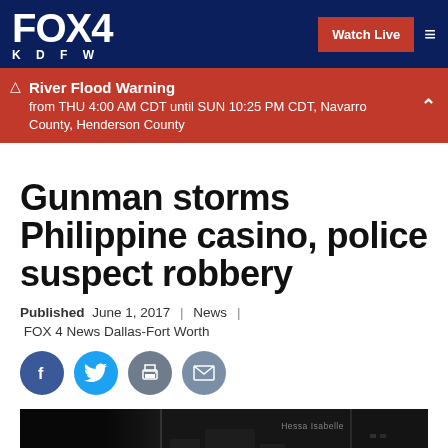FOX 4 KDFW | Watch Live
River Flood Warning from THU 4:00 AM CDT until SUN 10:25 PM CDT, Navarro County, Henderson County
Gunman storms Philippine casino, police suspect robbery
Published June 1, 2017  |  News  |  FOX 4 News Dallas-Fort Worth
[Figure (screenshot): Dark nighttime video thumbnail showing 'Manila Resort Attack' text overlay with 'Hessa Isabelle' watermark]
Manila Resort Attack